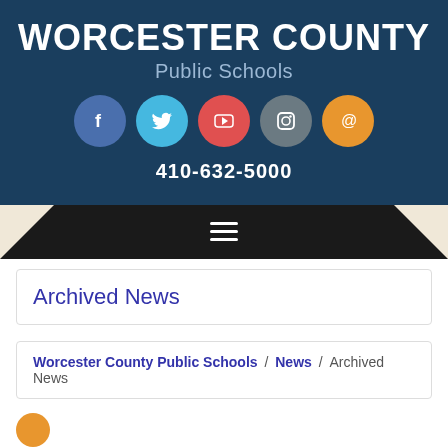[Figure (logo): Worcester County Public Schools logo with social media icons (Facebook, Twitter, YouTube, Instagram, Email) and phone number 410-632-5000 on dark blue background]
Archived News
Worcester County Public Schools / News / Archived News